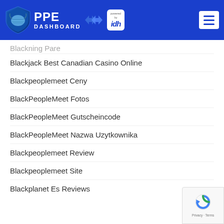[Figure (logo): PPE Dashboard logo with shield icon, arrows, and 'powered by idh' badge on blue header bar with hamburger menu icon]
Blackning Pare
Blackjack Best Canadian Casino Online
Blackpeoplemeet Ceny
BlackPeopleMeet Fotos
BlackPeopleMeet Gutscheincode
BlackPeopleMeet Nazwa Uzytkownika
Blackpeoplemeet Review
Blackpeoplemeet Site
Blackplanet Es Reviews